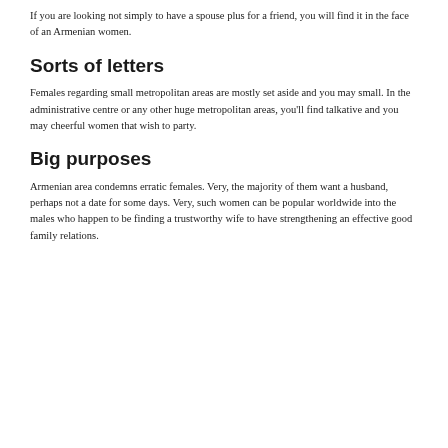If you are looking not simply to have a spouse plus for a friend, you will find it in the face of an Armenian women.
Sorts of letters
Females regarding small metropolitan areas are mostly set aside and you may small. In the administrative centre or any other huge metropolitan areas, you'll find talkative and you may cheerful women that wish to party.
Big purposes
Armenian area condemns erratic females. Very, the majority of them want a husband, perhaps not a date for some days. Very, such women can be popular worldwide into the males who happen to be finding a trustworthy wife to have strengthening an effective good family relations.